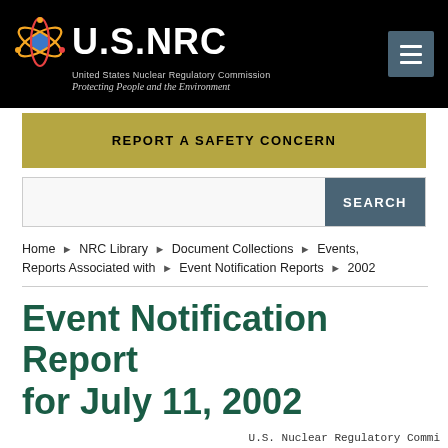[Figure (logo): U.S. NRC logo with atom icon, text 'U.S.NRC', subtitle 'United States Nuclear Regulatory Commission', tagline 'Protecting People and the Environment', and hamburger menu button]
REPORT A SAFETY CONCERN
SEARCH
Home ▶ NRC Library ▶ Document Collections ▶ Events, Reports Associated with ▶ Event Notification Reports ▶ 2002
Event Notification Report for July 11, 2002
U.S. Nuclear Regulatory Commi